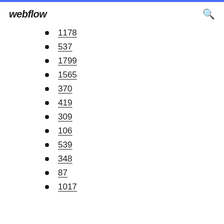webflow
1178
537
1799
1565
370
419
309
106
539
348
87
1017